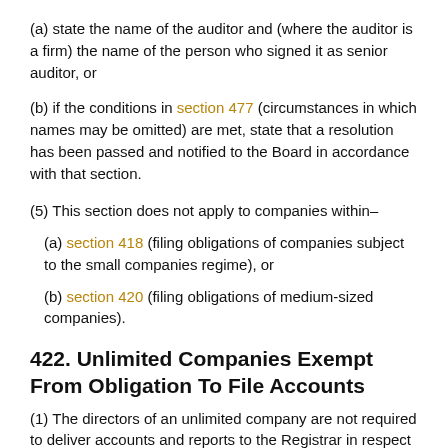(a) state the name of the auditor and (where the auditor is a firm) the name of the person who signed it as senior auditor, or
(b) if the conditions in section 477 (circumstances in which names may be omitted) are met, state that a resolution has been passed and notified to the Board in accordance with that section.
(5) This section does not apply to companies within–
(a) section 418 (filing obligations of companies subject to the small companies regime), or
(b) section 420 (filing obligations of medium-sized companies).
422. Unlimited Companies Exempt From Obligation To File Accounts
(1) The directors of an unlimited company are not required to deliver accounts and reports to the Registrar in respect of a financial year if the following conditions are met.